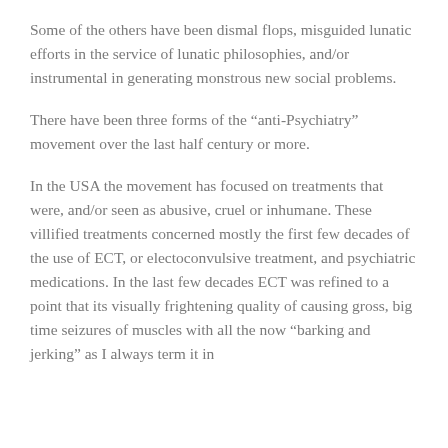Some of the others have been dismal flops, misguided lunatic efforts in the service of lunatic philosophies, and/or instrumental in generating monstrous new social problems.
There have been three forms of the “anti-Psychiatry” movement over the last half century or more.
In the USA the movement has focused on treatments that were, and/or seen as abusive, cruel or inhumane. These villified treatments concerned mostly the first few decades of the use of ECT, or electoconvulsive treatment, and psychiatric medications. In the last few decades ECT was refined to a point that its visually frightening quality of causing gross, big time seizures of muscles with all the now “barking and jerking” as I always term it in